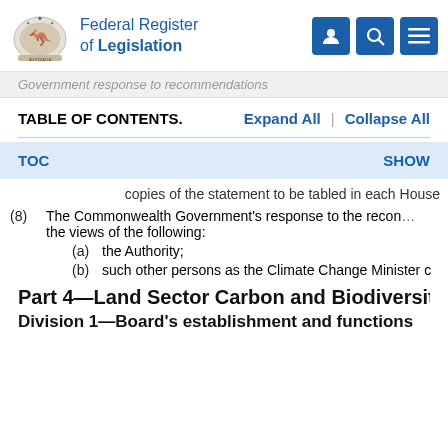Federal Register of Legislation
Government response to recommendations
TABLE OF CONTENTS.    Expand All  |  Collapse All
TOC    SHOW
copies of the statement to be tabled in each House
(8)  The Commonwealth Government's response to the recon... the views of the following:
(a)  the Authority;
(b)  such other persons as the Climate Change Minister c
Part 4—Land Sector Carbon and Biodiversit
Division 1—Board's establishment and functions